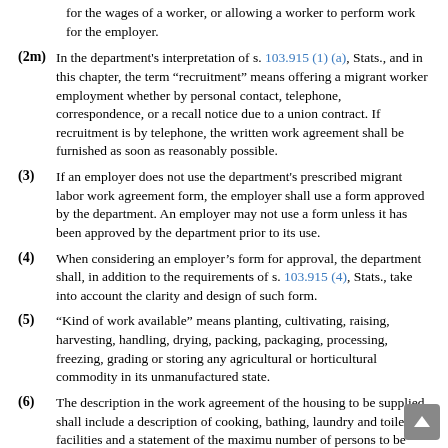for the wages of a worker, or allowing a worker to perform work for the employer.
(2m) In the department's interpretation of s. 103.915 (1) (a), Stats., and in this chapter, the term “recruitment” means offering a migrant worker employment whether by personal contact, telephone, correspondence, or a recall notice due to a union contract. If recruitment is by telephone, the written work agreement shall be furnished as soon as reasonably possible.
(3) If an employer does not use the department's prescribed migrant labor work agreement form, the employer shall use a form approved by the department. An employer may not use a form unless it has been approved by the department prior to its use.
(4) When considering an employer’s form for approval, the department shall, in addition to the requirements of s. 103.915 (4), Stats., take into account the clarity and design of such form.
(5) “Kind of work available” means planting, cultivating, raising, harvesting, handling, drying, packing, packaging, processing, freezing, grading or storing any agricultural or horticultural commodity in its unmanufactured state.
(6) The description in the work agreement of the housing to be supplied shall include a description of cooking, bathing, laundry and toilet facilities and a statement of the maximum number of persons to be accommodated in the sleeping area which the employer will be assigned in the area of sleeping